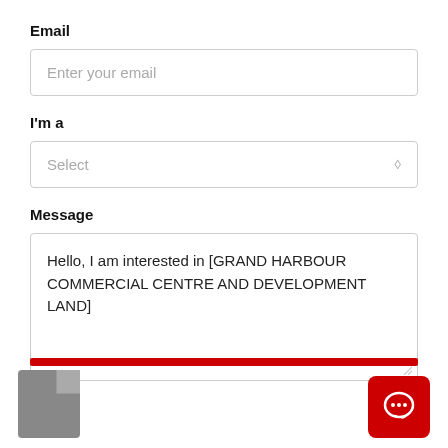Email
[Figure (screenshot): Email input field with placeholder text 'Enter your email']
I'm a
[Figure (screenshot): Dropdown select field with placeholder text 'Select' and diamond/chevron icon]
Message
[Figure (screenshot): Textarea with pre-filled text: 'Hello, I am interested in [GRAND HARBOUR COMMERCIAL CENTRE AND DEVELOPMENT LAND]']
[Figure (screenshot): Red submit button bar at bottom, grey document icon bottom-left, red chat icon button bottom-right]